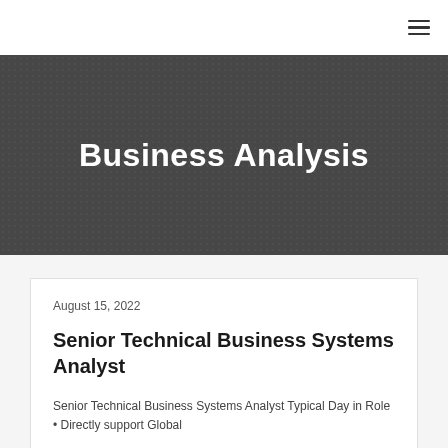Business Analysis
August 15, 2022
Senior Technical Business Systems Analyst
Senior Technical Business Systems Analyst Typical Day in Role • Directly support Global